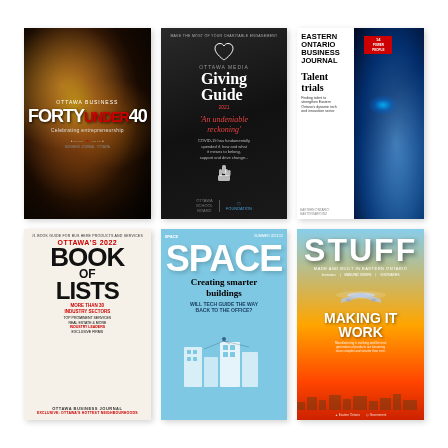[Figure (illustration): Magazine cover: Forty Under 40, Celebrating entrepreneurship, dark background with bokeh lights]
[Figure (illustration): Magazine cover: Ottawa Business Giving Guide 2021, 'An undeniable reckoning', dark background with heart icon and hand graphic]
[Figure (illustration): Magazine cover: Eastern Ontario Business Journal, Talent trials, welder photo]
[Figure (illustration): Magazine cover: Ottawa's 2022 Book of Lists, Ottawa Business Journal]
[Figure (illustration): Magazine cover: SPACE, Creating smarter buildings, Will tech guide the way back to the office?, light blue background]
[Figure (illustration): Magazine cover: STUFF Made and Built in Eastern Ontario, Making it Work, airplane silhouette, sunset gradient]